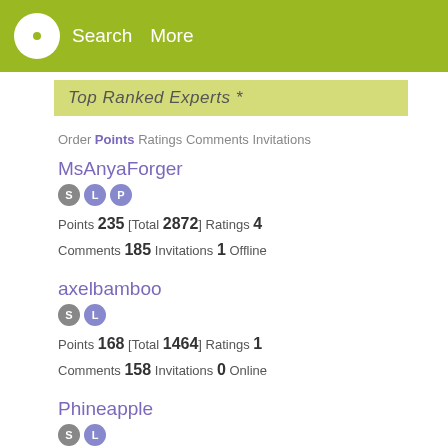App Store — Search More
Top Ranked Experts *
Order Points Ratings Comments Invitations
MsAnyaForger
Points 235 [Total 2872] Ratings 4
Comments 185 Invitations 1 Offline
axelbamboo
Points 168 [Total 1464] Ratings 1
Comments 158 Invitations 0 Online
Phineapple
Points 108 [Total 108] Ratings 1
Comments 78 Invitations 2 Offline
Moscov23
Points 95 [Total 2270] Ratings 0